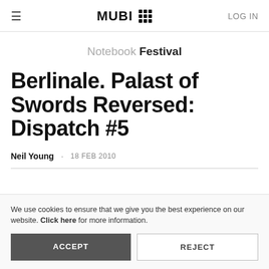MUBI LOG IN
Notebook Festival
Berlinale. Palast of Swords Reversed: Dispatch #5
Neil Young · 18 FEB 2010
We use cookies to ensure that we give you the best experience on our website. Click here for more information.